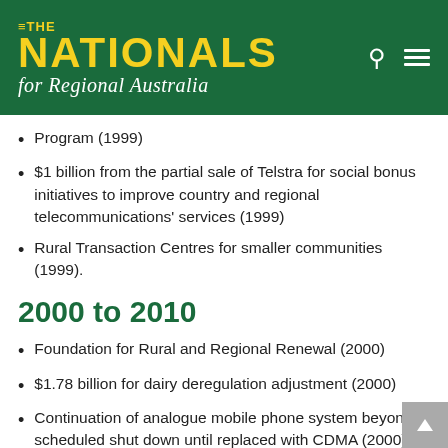[Figure (logo): The Nationals for Regional Australia logo - green header bar with yellow bold text 'THE NATIONALS' and white italic text 'for Regional Australia', plus search and menu icons]
Program (1999)
$1 billion from the partial sale of Telstra for social bonus initiatives to improve country and regional telecommunications' services (1999)
Rural Transaction Centres for smaller communities (1999).
2000 to 2010
Foundation for Rural and Regional Renewal (2000)
$1.78 billion for dairy deregulation adjustment (2000)
Continuation of analogue mobile phone system beyond scheduled shut down until replaced with CDMA (2000)